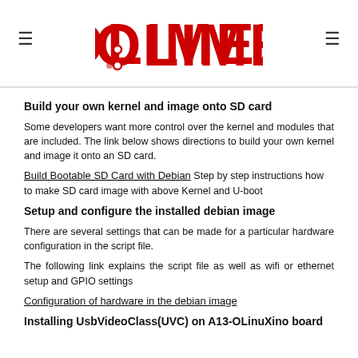OLIMEX logo with hamburger menu icons
Build your own kernel and image onto SD card
Some developers want more control over the kernel and modules that are included. The link below shows directions to build your own kernel and image it onto an SD card.
Build Bootable SD Card with Debian Step by step instructions how to make SD card image with above Kernel and U-boot
Setup and configure the installed debian image
There are several settings that can be made for a particular hardware configuration in the script file.
The following link explains the script file as well as wifi or ethernet setup and GPIO settings
Configuration of hardware in the debian image
Installing UsbVideoClass(UVC) on A13-OLinuXino board